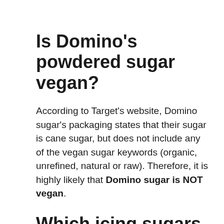Is Domino’s powdered sugar vegan?
According to Target’s website, Domino sugar’s packaging states that their sugar is cane sugar, but does not include any of the vegan sugar keywords (organic, unrefined, natural or raw). Therefore, it is highly likely that Domino sugar is NOT vegan.
Which icing sugars are vegan?
This is because some manufacturers of icing sugar add dried egg whites to the mix. As a